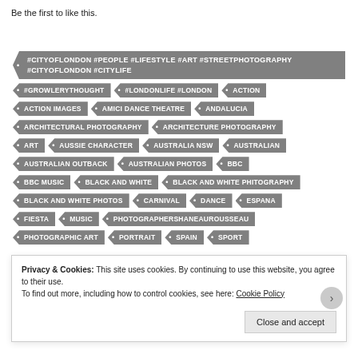Be the first to like this.
#CITYOFLONDON #PEOPLE #LIFESTYLE #ART #STREETPHOTOGRAPHY #CITYOFLONDON #CITYLIFE
#GROWLERYTHOUGHT
#LONDONLIFE #LONDON
ACTION
ACTION IMAGES
AMICI DANCE THEATRE
ANDALUCIA
ARCHITECTURAL PHOTOGRAPHY
ARCHITECTURE PHOTOGRAPHY
ART
AUSSIE CHARACTER
AUSTRALIA NSW
AUSTRALIAN
AUSTRALIAN OUTBACK
AUSTRALIAN PHOTOS
BBC
BBC MUSIC
BLACK AND WHITE
BLACK AND WHITE PHITOGRAPHY
BLACK AND WHITE PHOTOS
CARNIVAL
DANCE
ESPANA
FIESTA
MUSIC
PHOTOGRAPHERSHANEAUROUSSEAU
PHOTOGRAPHIC ART
PORTRAIT
SPAIN
SPORT
Privacy & Cookies: This site uses cookies. By continuing to use this website, you agree to their use.
To find out more, including how to control cookies, see here: Cookie Policy
Close and accept